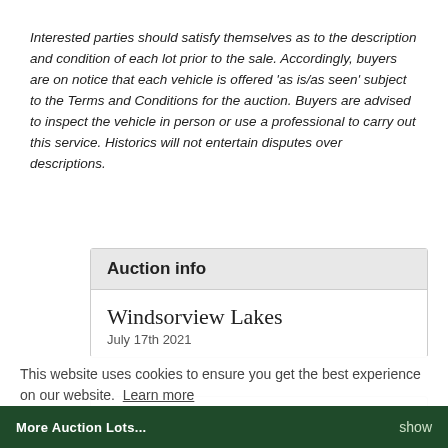Interested parties should satisfy themselves as to the description and condition of each lot prior to the sale. Accordingly, buyers are on notice that each vehicle is offered 'as is/as seen' subject to the Terms and Conditions for the auction. Buyers are advised to inspect the vehicle in person or use a professional to carry out this service. Historics will not entertain disputes over descriptions.
Auction info
Windsorview Lakes
July 17th 2021
This website uses cookies to ensure you get the best experience on our website. Learn more
You may also like...
Got it!
More Auction Lots...   show